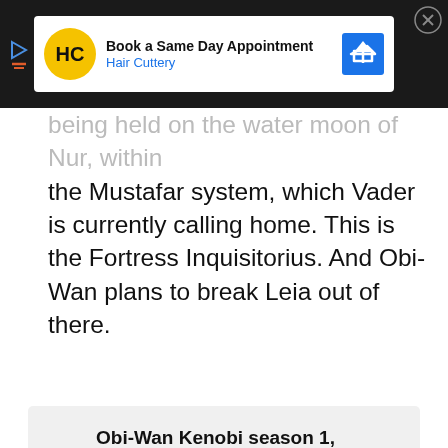[Figure (other): Advertisement banner for Hair Cuttery - Book a Same Day Appointment]
being held on the water moon of Nur, within the Mustafar system, which Vader is currently calling home. This is the Fortress Inquisitorius. And Obi-Wan plans to break Leia out of there.
Obi-Wan Kenobi season 1, episodes 1 & 2 recap – well, hello there
It won't be that easy, obviously. Obi-Wan isn't healed physically, his connection to the Force is weak, and he remains haunted by a past that he's flying right into. And the plan rests on Tala's Imperial credentials since she's still technically an officer, but she isn't